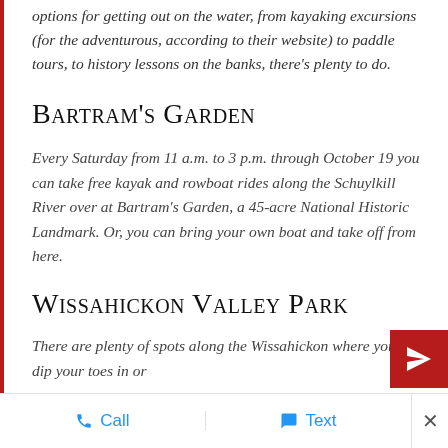options for getting out on the water, from kayaking excursions (for the adventurous, according to their website) to paddle tours, to history lessons on the banks, there's plenty to do.
Bartram's Garden
Every Saturday from 11 a.m. to 3 p.m. through October 19 you can take free kayak and rowboat rides along the Schuylkill River over at Bartram's Garden, a 45-acre National Historic Landmark. Or, you can bring your own boat and take off from here.
Wissahickon Valley Park
There are plenty of spots along the Wissahickon where you can dip your toes in or
Call   Text